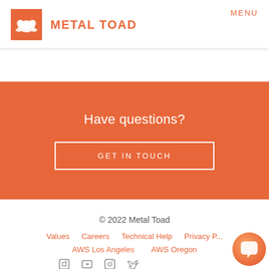MENU
[Figure (logo): Metal Toad logo: orange square with white toad icon, followed by bold orange text METAL TOAD]
Have questions?
GET IN TOUCH
© 2022 Metal Toad
Values
Careers
Technical Help
Privacy P...
AWS Los Angeles
AWS Oregon
[Figure (illustration): Social media icons row: LinkedIn, YouTube, Facebook, Twitter]
[Figure (illustration): Orange chat bubble button in bottom right corner]